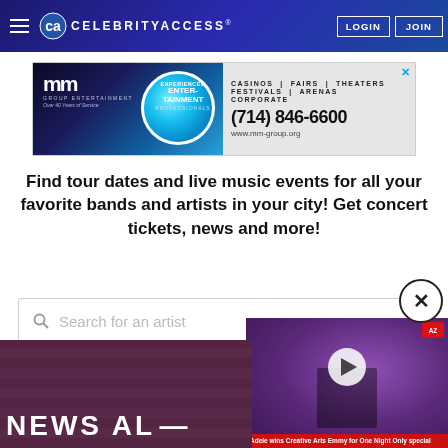CelebrityAccess navigation bar with LOGIN and JOIN buttons
[Figure (screenshot): MM Group Entertainment advertisement banner: Experienced Entertainment Professionals, (714) 846-6600, www.mm-group.org. CASINOS | FAIRS | THEATERS, FESTIVALS | ARENAS, CORPORATE]
Find tour dates and live music events for all your favorite bands and artists in your city! Get concert tickets, news and more!
[Figure (screenshot): Search bar with magnifying glass icon and placeholder text 'Search for an artist']
[Figure (screenshot): Video thumbnail showing Adele performing on stage with purple lighting, a play button, and caption 'Adele wins Creative Arts Emmy for One Night Only special']
[Figure (screenshot): Bottom section showing partial NEWS AL... text over dark purple background]